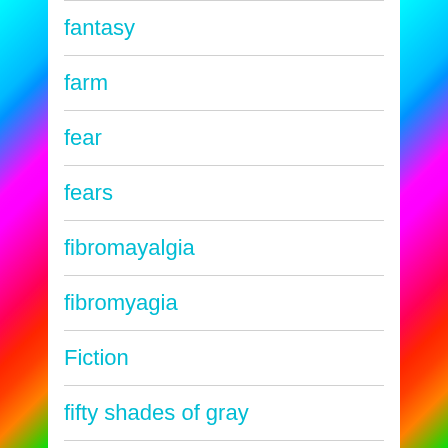fantasy
farm
fear
fears
fibromayalgia
fibromyagia
Fiction
fifty shades of gray
fifty shades of grey